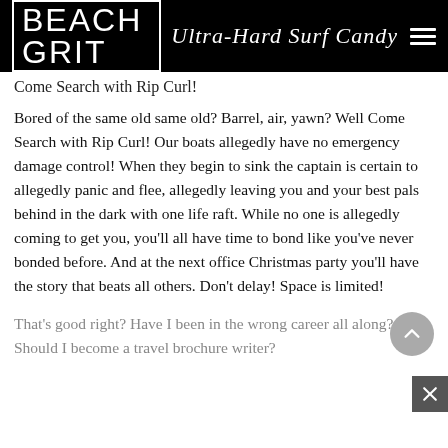BEACH GRIT Ultra-Hard Surf Candy
Come Search with Rip Curl!
Bored of the same old same old? Barrel, air, yawn? Well Come Search with Rip Curl! Our boats allegedly have no emergency damage control! When they begin to sink the captain is certain to allegedly panic and flee, allegedly leaving you and your best pals behind in the dark with one life raft. While no one is allegedly coming to get you, you'll all have time to bond like you've never bonded before. And at the next office Christmas party you'll have the story that beats all others. Don't delay! Space is limited!
That's good right? Have I been in the wrong career all along? Should I become a travel brochure writer?